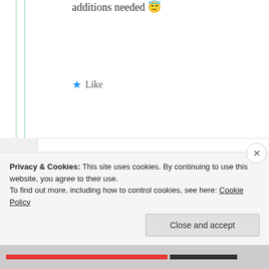additions needed 😇
★ Like
sanjay ranout
25th Aug 2021 at 8:18 am
Absolutely Sumo 😊
Privacy & Cookies: This site uses cookies. By continuing to use this website, you agree to their use.
To find out more, including how to control cookies, see here: Cookie Policy
Close and accept